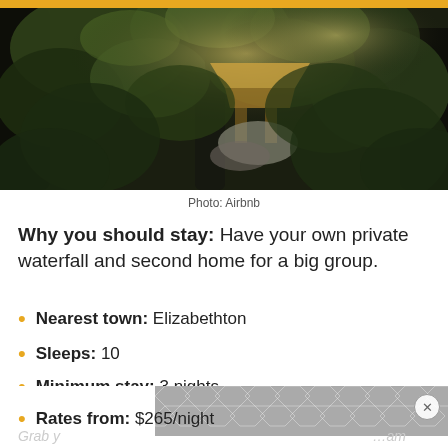[Figure (photo): A treehouse or elevated wooden structure partially visible through dense green forest foliage and large tree trunks, with sunlight filtering through the canopy.]
Photo: Airbnb
Why you should stay: Have your own private waterfall and second home for a big group.
Nearest town: Elizabethton
Sleeps: 10
Minimum stay: 3 nights
Rates from: $265/night
[Figure (other): Advertisement banner with hexagonal tile pattern in grey tones with a close (X) button]